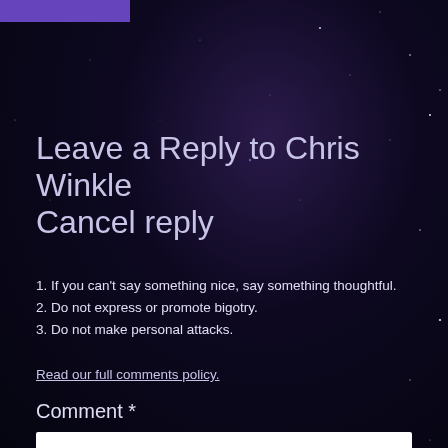Leave a Reply to Chris Winkle
Cancel reply
1. If you can't say something nice, say something thoughtful.
2. Do not express or promote bigotry.
3. Do not make personal attacks.
Read our full comments policy.
Comment *